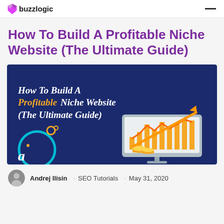buzzlogic
How To Build A Profitable Niche Website (The Ultimate Guide)
[Figure (illustration): Dark blue promotional banner image with bold white and yellow text reading 'How To Build A Profitable Niche Website (The Ultimate Guide)' on the left, and a graphic of a laptop/monitor displaying bar charts and an upward trending arrow on the right, with teal circle and stylized 'a' logo in the bottom-left corner.]
Andrej Ilisin · SEO Tutorials · May 31, 2020